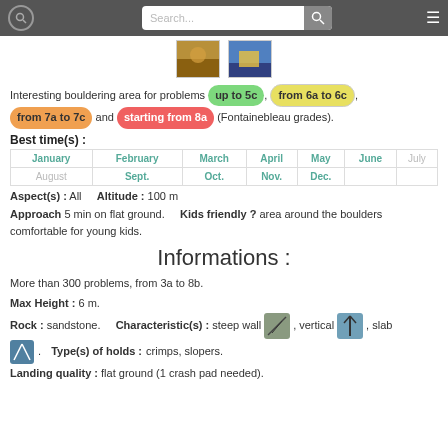Search...
[Figure (photo): Two small thumbnail photos of bouldering area]
Interesting bouldering area for problems up to 5c, from 6a to 6c, from 7a to 7c and starting from 8a (Fontainebleau grades).
Best time(s) :
| January | February | March | April | May | June | July |
| --- | --- | --- | --- | --- | --- | --- |
| January | February | March | April | May | June | July |
| August | Sept. | Oct. | Nov. | Dec. |  |  |
Aspect(s) : All   Altitude : 100 m
Approach 5 min on flat ground.   Kids friendly ? area around the boulders comfortable for young kids.
Informations :
More than 300 problems, from 3a to 8b.
Max Height : 6 m.
Rock : sandstone.   Characteristic(s) : steep wall, vertical, slab
Type(s) of holds : crimps, slopers.
Landing quality : flat ground (1 crash pad needed).